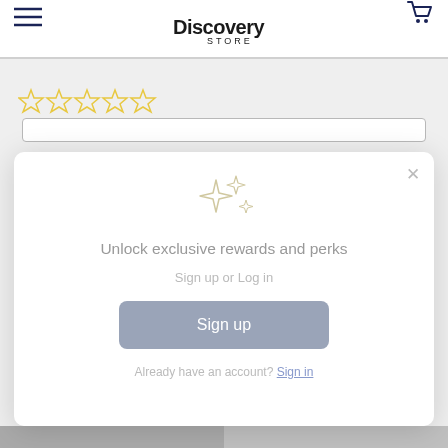Discovery Store
[Figure (other): Five empty star rating icons in gold/yellow outline]
[Figure (screenshot): Modal dialog: sparkle icons, 'Unlock exclusive rewards and perks', 'Sign up or Log in', Sign up button, 'Already have an account? Sign in']